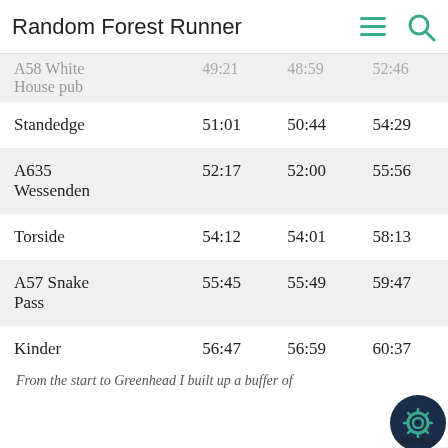Random Forest Runner
| Location | T1 | T2 | T3 |
| --- | --- | --- | --- |
| A58 White House pub | 49:21 | 48:59 | 52:46 |
| Standedge | 51:01 | 50:44 | 54:29 |
| A635 Wessenden | 52:17 | 52:00 | 55:56 |
| Torside | 54:12 | 54:01 | 58:13 |
| A57 Snake Pass | 55:45 | 55:49 | 59:47 |
| Kinder Downfall | 56:47 | 56:59 | 60:37 |
| Edale | 58:14 | 58:04 | 61 |
From the start to Greenhead I built up a buffer of